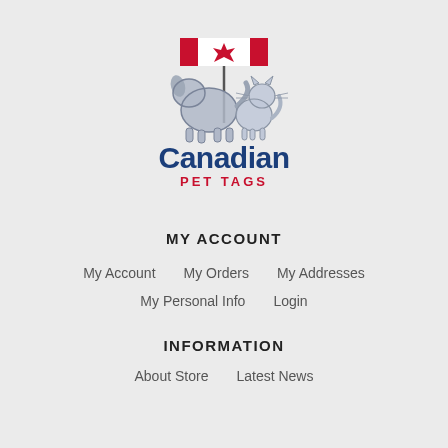[Figure (logo): Canadian Pet Tags logo: silhouette of a dog and cat with a Canadian flag on a pole, with the text 'Canadian' in dark blue bold and 'PET TAGS' in red below.]
MY ACCOUNT
My Account
My Orders
My Addresses
My Personal Info
Login
INFORMATION
About Store
Latest News